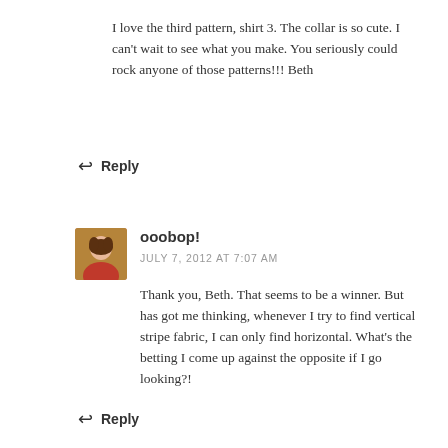I love the third pattern, shirt 3. The collar is so cute. I can't wait to see what you make. You seriously could rock anyone of those patterns!!! Beth
Reply
ooobop!
JULY 7, 2012 AT 7:07 AM
Thank you, Beth. That seems to be a winner. But has got me thinking, whenever I try to find vertical stripe fabric, I can only find horizontal. What's the betting I come up against the opposite if I go looking?!
Reply